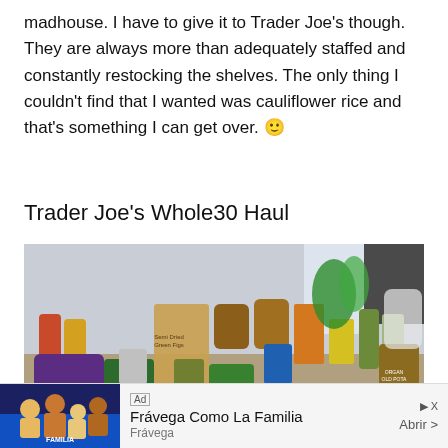madhouse. I have to give it to Trader Joe's though. They are always more than adequately staffed and constantly restocking the shelves. The only thing I couldn't find that I wanted was cauliflower rice and that's something I can get over. 🙂
Trader Joe's Whole30 Haul
[Figure (photo): A large grocery haul on a table showing multiple Trader Joe's products including jars, bottles, snack bags, produce, and packaged foods.]
Ad Frávega Como La Familia Frávega Abrir >